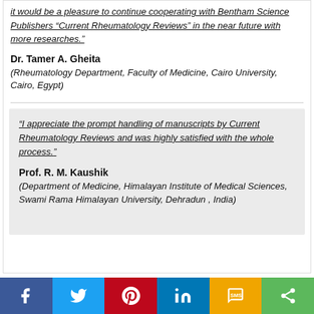it would be a pleasure to continue cooperating with Bentham Science Publishers "Current Rheumatology Reviews" in the near future with more researches."
Dr. Tamer A. Gheita
(Rheumatology Department, Faculty of Medicine, Cairo University, Cairo, Egypt)
"I appreciate the prompt handling of manuscripts by Current Rheumatology Reviews and was highly satisfied with the whole process."
Prof. R. M. Kaushik
(Department of Medicine, Himalayan Institute of Medical Sciences, Swami Rama Himalayan University, Dehradun , India)